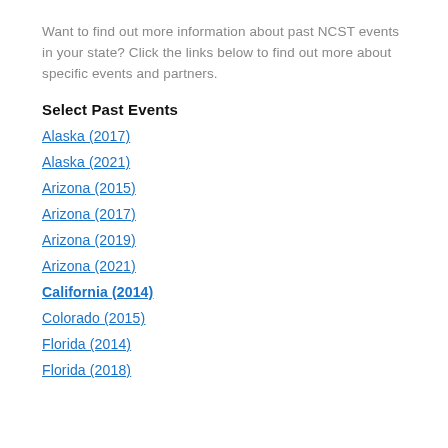Want to find out more information about past NCST events in your state? Click the links below to find out more about specific events and partners.
Select Past Events
Alaska (2017)
Alaska (2021)
Arizona (2015)
Arizona (2017)
Arizona (2019)
Arizona (2021)
California (2014)
Colorado (2015)
Florida (2014)
Florida (2018)